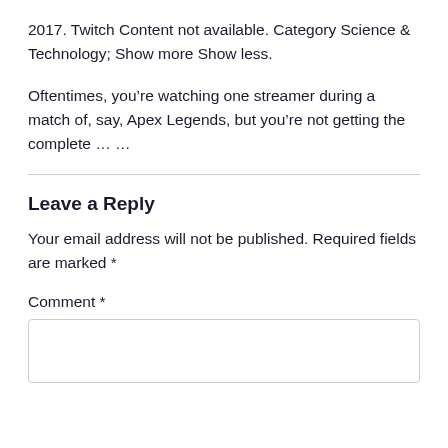2017. Twitch Content not available. Category Science & Technology; Show more Show less.
Oftentimes, you’re watching one streamer during a match of, say, Apex Legends, but you’re not getting the complete … …
Leave a Reply
Your email address will not be published. Required fields are marked *
Comment *